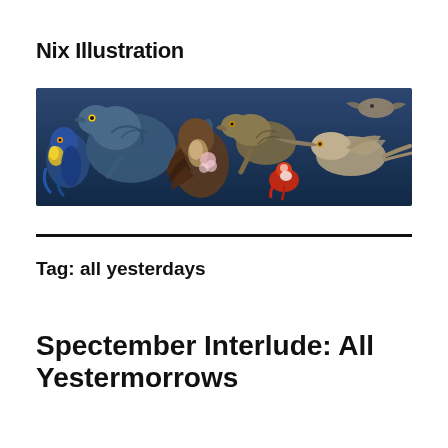Nix Illustration
[Figure (illustration): A wide horizontal banner illustration showing several feathered/scaled prehistoric creatures and animals on a dark blue-teal background. From left to right: a blue bird-like creature with yellow markings, a large blue-grey dinosaur, a brown feathered creature, a mammal-like animal, a small creature with red and white features, and a long-beaked bird in flight on the right.]
Tag: all yesterdays
Spectember Interlude: All Yestermorrows